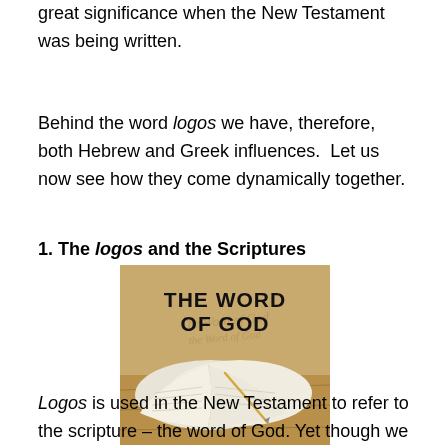great significance when the New Testament was being written.
Behind the word logos we have, therefore, both Hebrew and Greek influences.  Let us now see how they come dynamically together.
1. The logos and the Scriptures
[Figure (photo): An open Bible on a wooden surface with the text 'THE WORD OF GOD' displayed prominently in bold black letters, with a cursive watermark of the same text behind it.]
Logos is used in the New Testament to refer to the scripture – the word of God. Yet though we may often use